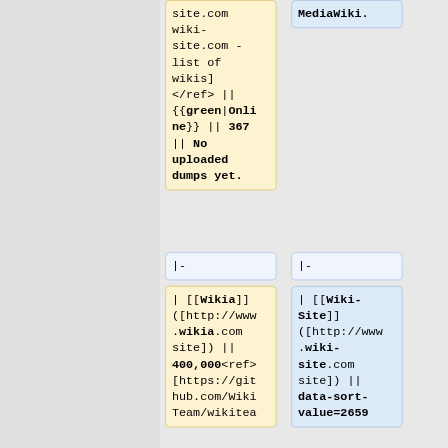site.com wiki-site.com - list of wikis] </ref> || {{green|Online}} || 367 || No uploaded dumps yet.
MediaWiki.
|-
|-
| [[Wikia]]([http://www.wikia.com site]) || 400,000<ref>[https://github.com/WikiTeam/wikitea
| [[Wiki-Site]]([http://www.wiki-site.com site]) || data-sort-value=2659